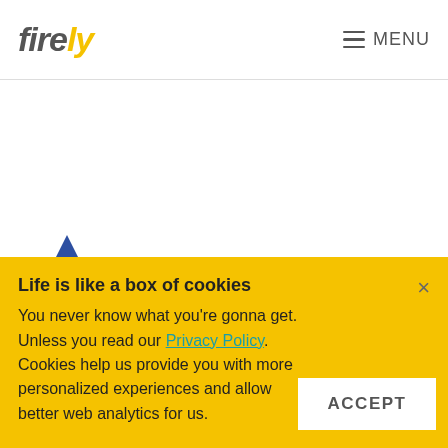firely — MENU
[Figure (other): Blue upward-pointing arrow shape partially visible at bottom of white content area]
Life is like a box of cookies
You never know what you're gonna get. Unless you read our Privacy Policy. Cookies help us provide you with more personalized experiences and allow better web analytics for us.
ACCEPT